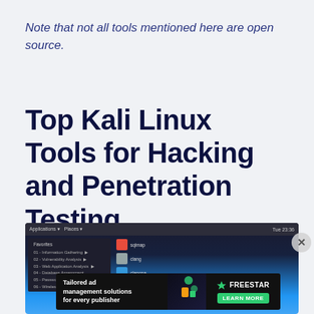Note that not all tools mentioned here are open source.
Top Kali Linux Tools for Hacking and Penetration Testing
[Figure (screenshot): Screenshot of Kali Linux desktop showing Applications menu with categories like Information Gathering, Vulnerability Analysis, Web Application Analysis, Database Assessment, Password Attacks, and Wireless Attacks, along with a list of tools on the right side. Blue gradient background with swoosh graphic. A close (X) button is visible on the right.]
[Figure (screenshot): Advertisement banner for Freestar: 'Tailored ad management solutions for every publisher' with a Learn More button in green.]